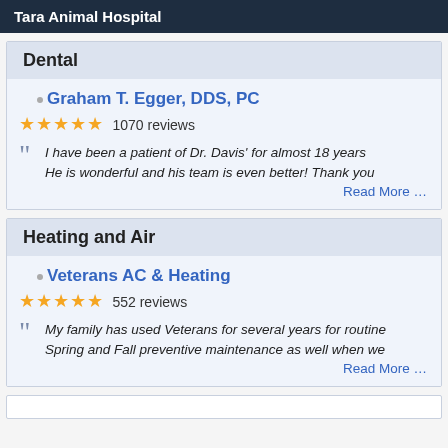Tara Animal Hospital
Dental
Graham T. Egger, DDS, PC
★★★★★ 1070 reviews
I have been a patient of Dr. Davis' for almost 18 years He is wonderful and his team is even better! Thank you
Read More …
Heating and Air
Veterans AC & Heating
★★★★★ 552 reviews
My family has used Veterans for several years for routine Spring and Fall preventive maintenance as well when we
Read More …